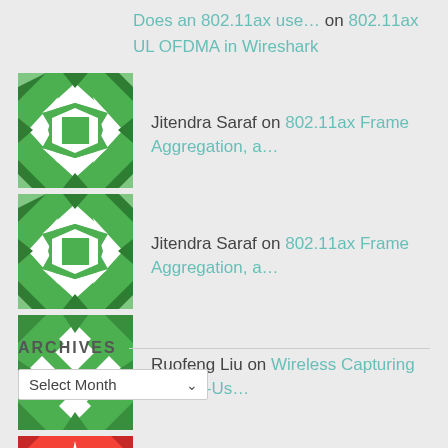Does an 802.11ax use… on 802.11ax UL OFDMA in Wireshark
Jitendra Saraf on 802.11ax Frame Aggregation, a…
Jitendra Saraf on 802.11ax Frame Aggregation, a…
Ruofeng Liu on Wireless Capturing of Multi-Us…
gjermundraaen on Wireless Capturing of Multi-Us…
ARCHIVES
Select Month